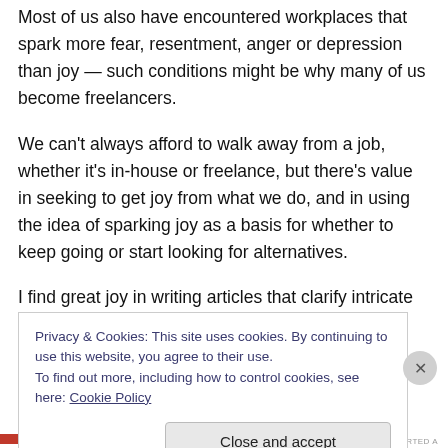Most of us also have encountered workplaces that spark more fear, resentment, anger or depression than joy — such conditions might be why many of us become freelancers.
We can't always afford to walk away from a job, whether it's in-house or freelance, but there's value in seeking to get joy from what we do, and in using the idea of sparking joy as a basis for whether to keep going or start looking for alternatives.
I find great joy in writing articles that clarify intricate topics,
Privacy & Cookies: This site uses cookies. By continuing to use this website, you agree to their use.
To find out more, including how to control cookies, see here: Cookie Policy